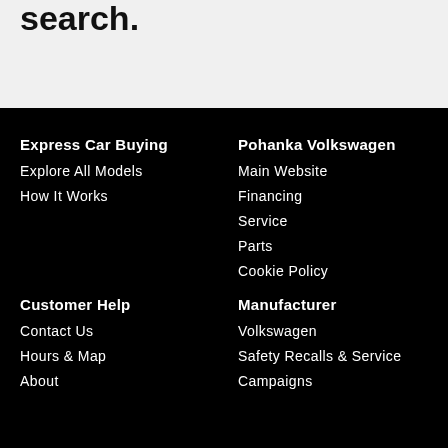search.
Express Car Buying
Explore All Models
How It Works
Pohanka Volkswagen
Main Website
Financing
Service
Parts
Cookie Policy
Customer Help
Contact Us
Hours & Map
About
Manufacturer
Volkswagen
Safety Recalls & Service Campaigns